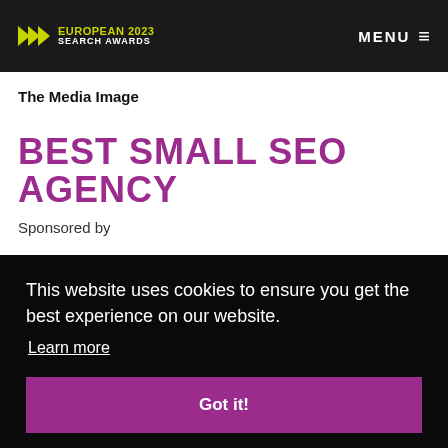EUROPEAN 2023 SEARCH AWARDS | MENU
The Media Image
BEST SMALL SEO AGENCY
Sponsored by
This website uses cookies to ensure you get the best experience on our website.
Learn more
Got it!
five elements digital